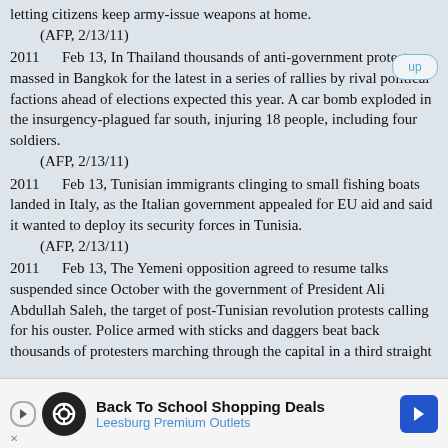letting citizens keep army-issue weapons at home.
(AFP, 2/13/11)
2011    Feb 13, In Thailand thousands of anti-government protesters massed in Bangkok for the latest in a series of rallies by rival political factions ahead of elections expected this year. A car bomb exploded in the insurgency-plagued far south, injuring 18 people, including four soldiers.
(AFP, 2/13/11)
2011    Feb 13, Tunisian immigrants clinging to small fishing boats landed in Italy, as the Italian government appealed for EU aid and said it wanted to deploy its security forces in Tunisia.
(AFP, 2/13/11)
2011    Feb 13, The Yemeni opposition agreed to resume talks suspended since October with the government of President Ali Abdullah Saleh, the target of post-Tunisian revolution protests calling for his ouster. Police armed with sticks and daggers beat back thousands of protesters marching through the capital in a third straight
[Figure (infographic): Advertisement banner: Back To School Shopping Deals - Leesburg Premium Outlets]